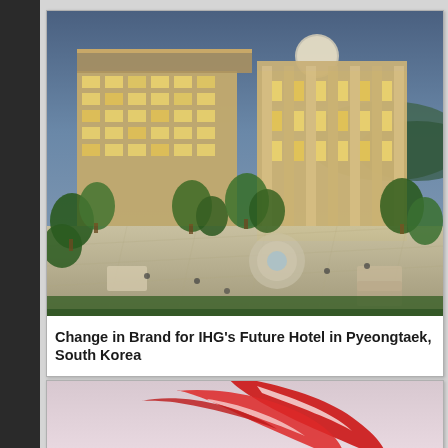[Figure (photo): Aerial/elevated architectural rendering of a large luxury hotel building with illuminated facade, outdoor plaza with trees, seating areas, water feature, and surrounding greenery at dusk/evening.]
Change in Brand for IHG's Future Hotel in Pyeongtaek, South Korea
[Figure (photo): Partial image showing a red logo or graphic element, possibly an airline or brand logo with red swoosh/wing shapes against a light sky background.]